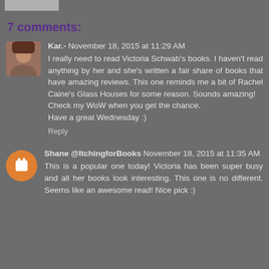7 comments:
Kar.-  November 18, 2015 at 11:29 AM
I really need to read Victoria Schwab's books. I haven't read anything by her and she's written a fair share of books that have amazing reviews. This one reminds me a bit of Rachel Caine's Glass Houses for some reason. Sounds amazing!
Check my WoW when you get the chance.
Have a great Wednesday :)
Reply
Shane @ItchingforBooks  November 18, 2015 at 11:35 AM
This is a popular one today! Victoria has been super busy and all her books look interesting. This one is no different. Seems like an awesome read! Nice pick :)